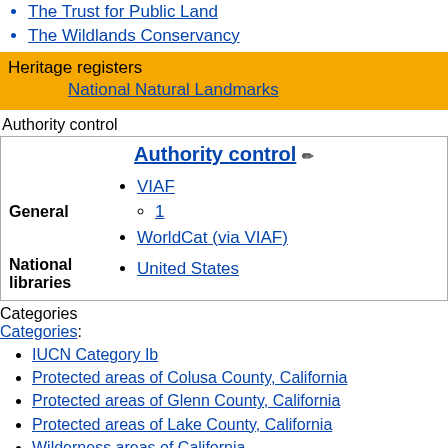The Trust for Public Land
The Wildlands Conservancy
Heritage registers
National Natural Landmarks
Authority control
Authority control
VIAF
1
WorldCat (via VIAF)
General
National libraries
United States
Categories
Categories:
IUCN Category Ib
Protected areas of Colusa County, California
Protected areas of Glenn County, California
Protected areas of Lake County, California
Wilderness areas of California
Mendocino National Forest
Berryessa Snow Mountain National Monument
Protected areas established in 1984